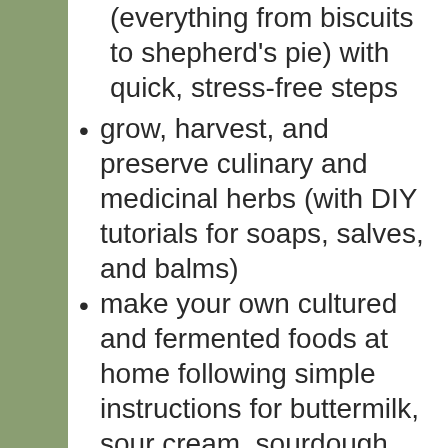(everything from biscuits to shepherd's pie) with quick, stress-free steps
grow, harvest, and preserve culinary and medicinal herbs (with DIY tutorials for soaps, salves, and balms)
make your own cultured and fermented foods at home following simple instructions for buttermilk, sour cream, sourdough, and more
simplify your routine and declutter your home with room-by-room guides and Depression-era wisdom